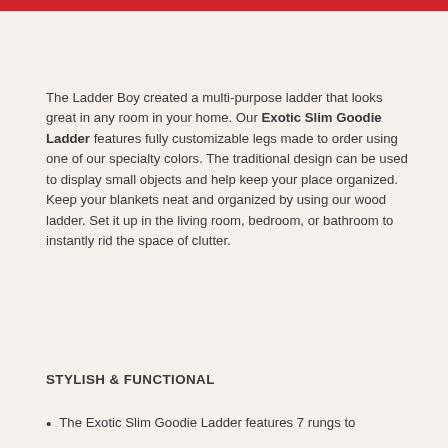The Ladder Boy created a multi-purpose ladder that looks great in any room in your home. Our Exotic Slim Goodie Ladder features fully customizable legs made to order using one of our specialty colors. The traditional design can be used to display small objects and help keep your place organized. Keep your blankets neat and organized by using our wood ladder. Set it up in the living room, bedroom, or bathroom to instantly rid the space of clutter.
STYLISH & FUNCTIONAL
The Exotic Slim Goodie Ladder features 7 rungs to